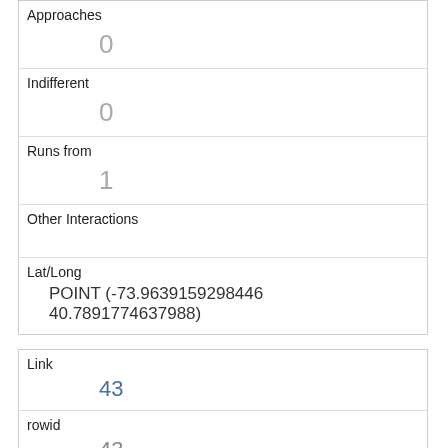| Field | Value |
| --- | --- |
| Approaches | 0 |
| Indifferent | 0 |
| Runs from | 1 |
| Other Interactions |  |
| Lat/Long | POINT (-73.9639159298446 40.7891774637988) |
| Field | Value |
| --- | --- |
| Link | 43 |
| rowid | 43 |
| longitude | -73.9574648097543 |
| latitude | 40.7892508428622 |
| Unique Squirrel ID | 31H-PM-1008-02 |